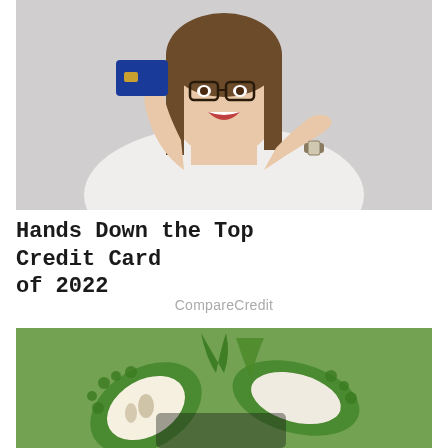[Figure (photo): A smiling woman with glasses holding up a blue credit card and pointing at it with her other hand, wearing a white shirt and a watch, against a light grey background.]
Hands Down the Top Credit Card of 2022
CompareCredit
[Figure (photo): Close-up photo of sliced bitter melon (bitter gourd) showing the green spiky exterior and white interior flesh, on a blurred green background.]